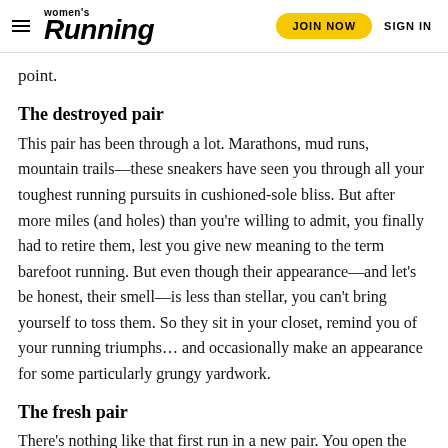women's Running | JOIN NOW | SIGN IN
point.
The destroyed pair
This pair has been through a lot. Marathons, mud runs, mountain trails—these sneakers have seen you through all your toughest running pursuits in cushioned-sole bliss. But after more miles (and holes) than you're willing to admit, you finally had to retire them, lest you give new meaning to the term barefoot running. But even though their appearance—and let's be honest, their smell—is less than stellar, you can't bring yourself to toss them. So they sit in your closet, remind you of your running triumphs… and occasionally make an appearance for some particularly grungy yardwork.
The fresh pair
There's nothing like that first run in a new pair. You open the